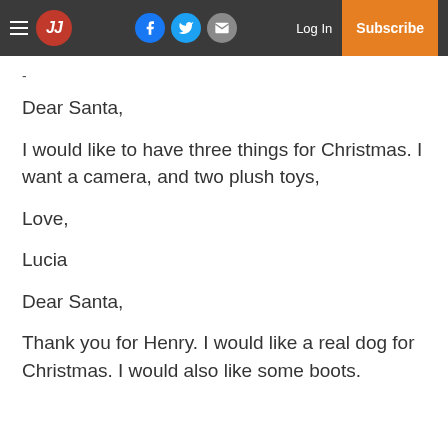JJ [navbar with hamburger, JJ logo, Facebook, Twitter, Email icons, Log In, Subscribe]
-
Dear Santa,

I would like to have three things for Christmas. I want a camera, and two plush toys,

Love,

Lucia
Dear Santa,

Thank you for Henry. I would like a real dog for Christmas. I would also like some boots.